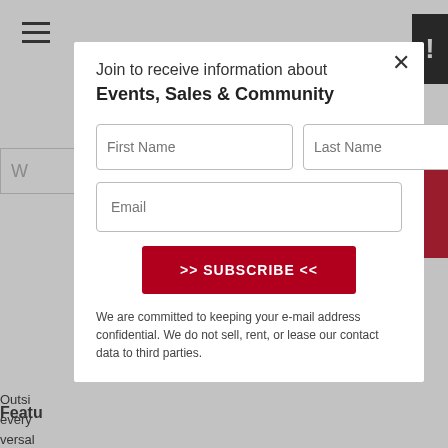[Figure (screenshot): Website page background showing hamburger menu, search box, partial article text, and navigation elements]
Join to receive information about Events, Sales & Community
First Name (input field)
Last Name (input field)
Email (input field)
>> SUBSCRIBE <<
We are committed to keeping your e-mail address confidential. We do not sell, rent, or lease our contact data to third parties.